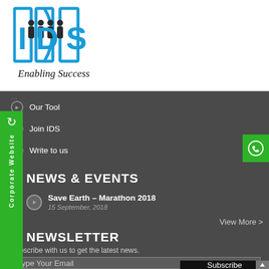[Figure (logo): IDS - Enabling Success logo with blue block letters IDS and silhouettes of people, with 'Enabling Success' tagline in cursive]
Our Tool
Join IDS
Write to us
NEWS & EVENTS
Save Earth – Marathon 2018
15 September, 2018
View More >
NEWSLETTER
Subscribe with us to get the latest news.
Type Your Email
Subscribe